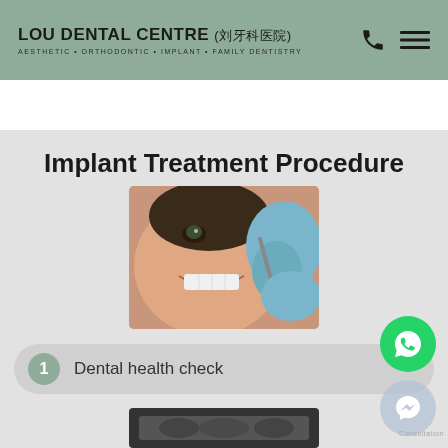LOU DENTAL CENTRE (刘牙科医院) AESTHETIC • ORTHODONTIC • IMPLANT • FAMILY DENTISTRY
Implant Treatment Procedure
[Figure (photo): Close-up photo of a woman smiling while a dental professional in blue gloves performs dental work with instruments]
1  Dental health check
[Figure (photo): Dental X-ray or dark clinical image at the bottom of the page]